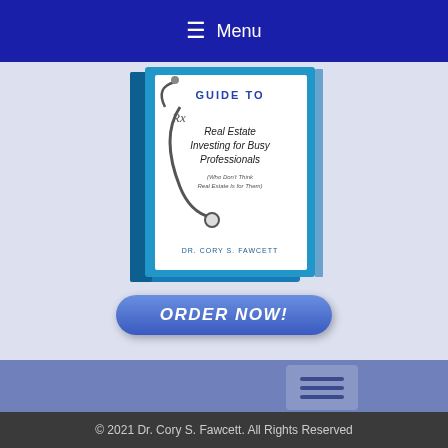☰ Menu
[Figure (illustration): Book cover titled 'Guide To Real Estate Investing for Busy Professionals (Who Don't Think Real Estate Is for Them)' by Dr. Cory S. Fawcett, shown as a 3D book with a stethoscope on the cover]
ORDER NOW!
[Figure (other): Three hamburger menu icon blocks on a blue-purple background]
© 2021 Dr. Cory S. Fawcett. All Rights Reserved